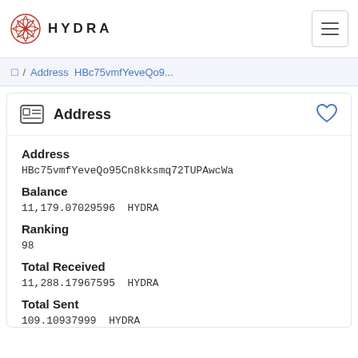HYDRA
🏠 / Address HBc75vmfYeveQo9...
Address
Address
HBc75vmfYeveQo95Cn8kksmq72TUPAwcWa
Balance
11,179.07029596 HYDRA
Ranking
98
Total Received
11,288.17967595 HYDRA
Total Sent
109.10937999 HYDRA